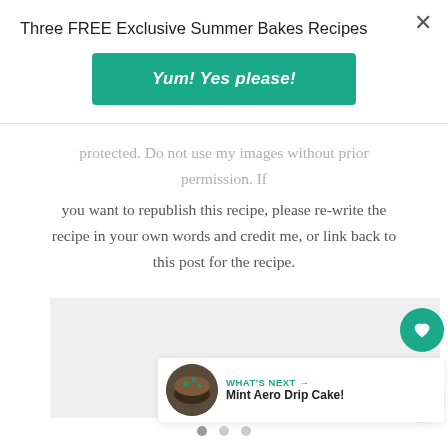Three FREE Exclusive Summer Bakes Recipes
Yum! Yes please!
protected. Do not use my images without prior permission. If you want to republish this recipe, please re-write the recipe in your own words and credit me, or link back to this post for the recipe.
[Figure (photo): Image placeholder area showing a cake photo (partially visible)]
11
WHAT'S NEXT → Mint Aero Drip Cake!